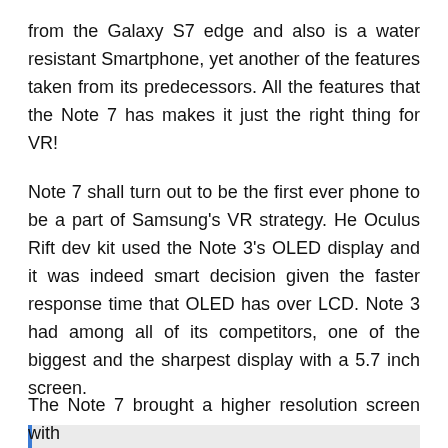from the Galaxy S7 edge and also is a water resistant Smartphone, yet another of the features taken from its predecessors. All the features that the Note 7 has makes it just the right thing for VR!
Note 7 shall turn out to be the first ever phone to be a part of Samsung's VR strategy. He Oculus Rift dev kit used the Note 3's OLED display and it was indeed smart decision given the faster response time that OLED has over LCD. Note 3 had among all of its competitors, one of the biggest and the sharpest display with a 5.7 inch screen.
Read More  Aptoide Apk Download And Install For Android
The Note 7 brought a higher resolution screen with